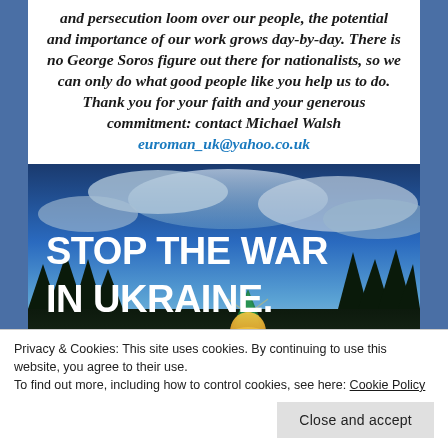and persecution loom over our people, the potential and importance of our work grows day-by-day. There is no George Soros figure out there for nationalists, so we can only do what good people like you help us to do. Thank you for your faith and your generous commitment: contact Michael Walsh euroman_uk@yahoo.co.uk
[Figure (photo): Promotional image with text 'STOP THE WAR IN UKRAINE.' in large white bold text, over a dramatic sky with clouds and silhouetted trees, with a glowing tent in the foreground.]
Privacy & Cookies: This site uses cookies. By continuing to use this website, you agree to their use.
To find out more, including how to control cookies, see here: Cookie Policy
Close and accept